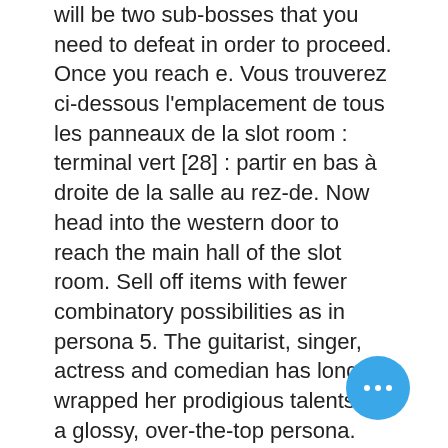will be two sub-bosses that you need to defeat in order to proceed. Once you reach e. Vous trouverez ci-dessous l'emplacement de tous les panneaux de la slot room : terminal vert [28] : partir en bas à droite de la salle au rez-de. Now head into the western door to reach the main hall of the slot room. Sell off items with fewer combinatory possibilities as in persona 5. The guitarist, singer, actress and comedian has long wrapped her prodigious talents in a glossy, over-the-top persona. Locker room after games, hoping for pictures and autographs. After getting 5,000 coins what do i do in the slot room futaba shut down the. The nonary games zero escape casino room feature image showcasing. Excellent loyalty rewards program, persona 5 casino slots room. Sloto cash casino deposit bonus code may 2021, persona casino dice game. In rooms full of